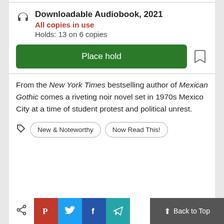Downloadable Audiobook, 2021
All copies in use
Holds: 13 on 6 copies
Place hold
From the New York Times bestselling author of Mexican Gothic comes a riveting noir novel set in 1970s Mexico City at a time of student protest and political unrest.
New & Noteworthy
Now Read This!
Back to Top